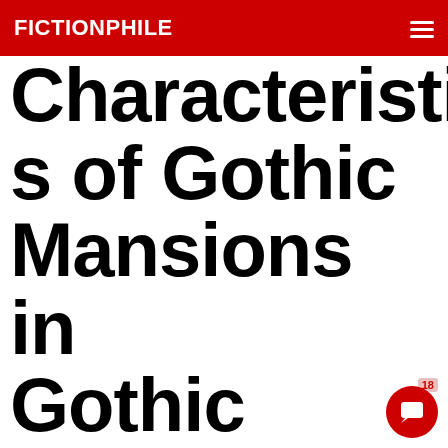FICTIONPHILE
Characteristics of Gothic Mansions in Gothic Fiction: From Manderley to